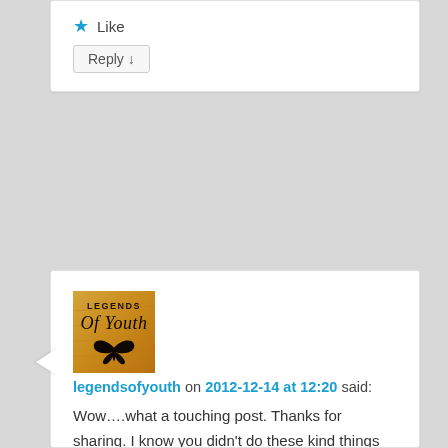Like
Reply ↓
[Figure (illustration): Avatar image for legendsofyouth: golden/amber background with 'LEGENDS Of Youth' text and a butterfly silhouette]
legendsofyouth on 2012-12-14 at 12:20 said:
Wow….what a touching post. Thanks for sharing. I know you didn't do these kind things for recognition, but seriously, you are a wonderful person. That woman will be reliving and retelling that story for her whole life. Amazingly generous people are rare these days, thank you